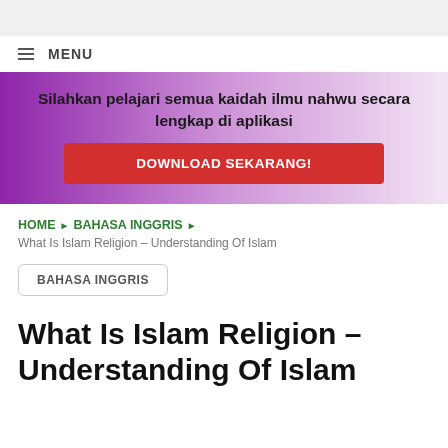MENU
[Figure (infographic): Purple gradient banner with bold black text 'Silahkan pelajari semua kaidah ilmu nahwu secara lengkap di aplikasi' and a red download button labeled 'DOWNLOAD SEKARANG!']
HOME ▶ BAHASA INGGRIS ▶
What Is Islam Religion – Understanding Of Islam
BAHASA INGGRIS
What Is Islam Religion – Understanding Of Islam